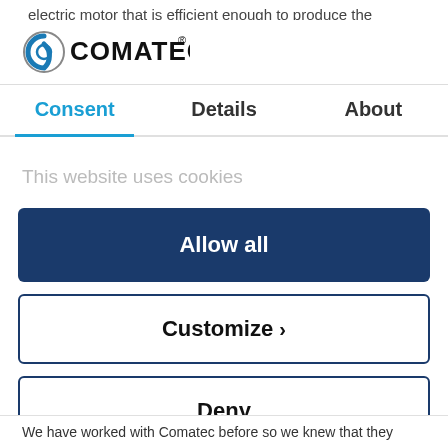electric motor that is efficient enough to produce the
[Figure (logo): Comatec logo with stylized C icon and COMATEC text with registered trademark symbol]
Consent | Details | About
This website uses cookies
Allow all
Customize >
Deny
Powered by Cookiebot by Usercentrics
We have worked with Comatec before so we knew that they